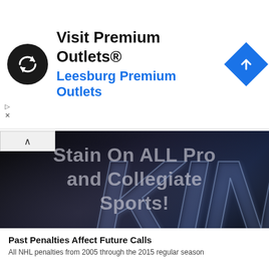[Figure (infographic): Advertisement banner for Premium Outlets with circular black logo with infinity-like arrows symbol, text 'Visit Premium Outlets®' in black and 'Leesburg Premium Outlets' in blue, blue diamond navigation icon on right]
[Figure (photo): Dark hero image with large chrome/metallic stylized letters 'KIN' visible on right side against dark background, with overlaid text 'Stain On ALL Pro and Collegiate Sports!' in gray, and byline 'Written by Adam King | March 24, 2021March 24, 2021' with author name in orange/gold. Small yellow circle scroll-up button at bottom right.]
Past Penalties Affect Future Calls
All NHL penalties from 2005 through the 2015 regular season